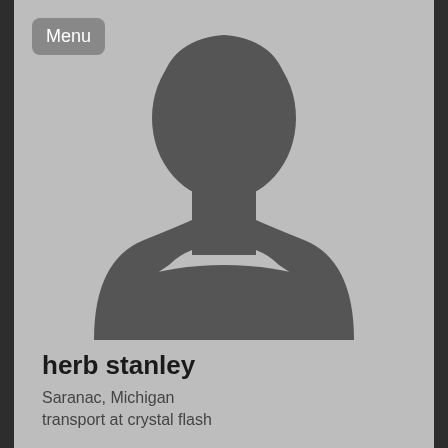[Figure (photo): Generic silhouette placeholder profile photo of a person (head and shoulders) on a light gray background]
Menu
herb stanley
Saranac, Michigan
transport at crystal flash